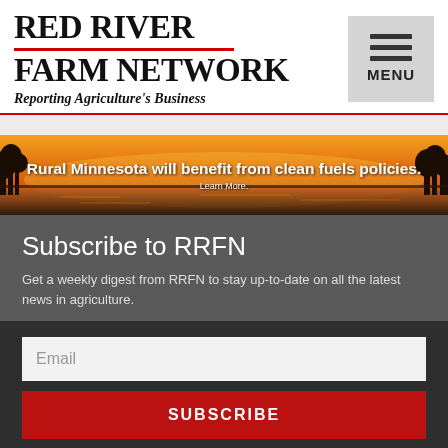RED RIVER FARM NETWORK
Reporting Agriculture's Business
[Figure (illustration): Sunset lake landscape advertisement banner with text: Rural Minnesota will benefit from clean fuels policies. Learn More.]
Subscribe to RRFN
Get a weekly digest from RRFN to stay up-to-date on all the latest news in agriculture.
Email
SUBSCRIBE